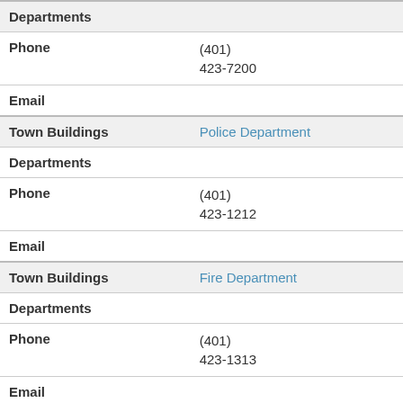| Field | Value |
| --- | --- |
| Departments |  |
| Phone | (401)
423-7200 |
| Email |  |
| Town Buildings | Police Department |
| Departments |  |
| Phone | (401)
423-1212 |
| Email |  |
| Town Buildings | Fire Department |
| Departments |  |
| Phone | (401)
423-1313 |
| Email |  |
| Town Buildings | Parks & Recreation Department |
| Departments |  |
| Phone | (401)
423-7211 |